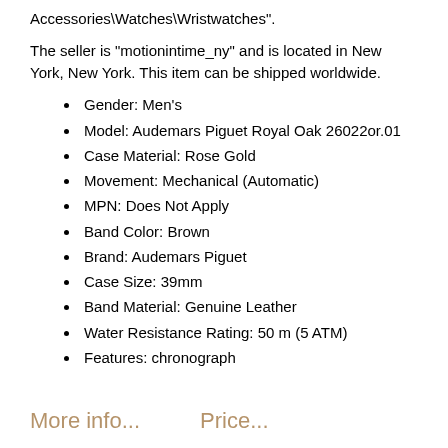Accessories\Watches\Wristwatches".
The seller is "motionintime_ny" and is located in New York, New York. This item can be shipped worldwide.
Gender: Men's
Model: Audemars Piguet Royal Oak 26022or.01
Case Material: Rose Gold
Movement: Mechanical (Automatic)
MPN: Does Not Apply
Band Color: Brown
Brand: Audemars Piguet
Case Size: 39mm
Band Material: Genuine Leather
Water Resistance Rating: 50 m (5 ATM)
Features: chronograph
More info...     Price...